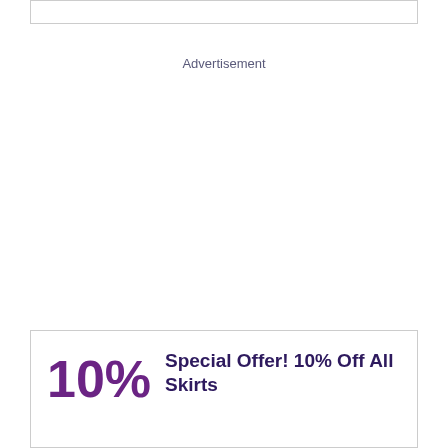Advertisement
[Figure (other): Advertisement banner placeholder area (blank white space)]
Special Offer! 10% Off All Skirts
10%